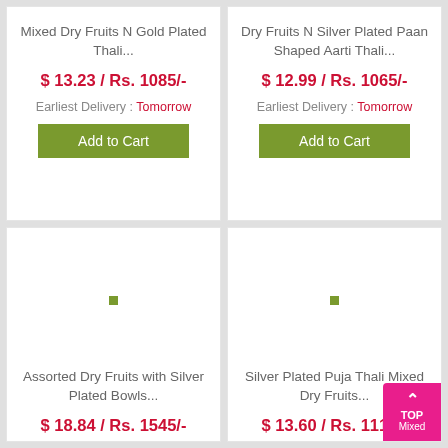Mixed Dry Fruits N Gold Plated Thali...
$ 13.23 / Rs. 1085/-
Earliest Delivery : Tomorrow
Add to Cart
Dry Fruits N Silver Plated Paan Shaped Aarti Thali...
$ 12.99 / Rs. 1065/-
Earliest Delivery : Tomorrow
Add to Cart
[Figure (other): Product image placeholder with green dot]
Assorted Dry Fruits with Silver Plated Bowls...
$ 18.84 / Rs. 1545/-
[Figure (other): Product image placeholder with green dot]
Silver Plated Puja Thali Mixed Dry Fruits...
$ 13.60 / Rs. 1115/-